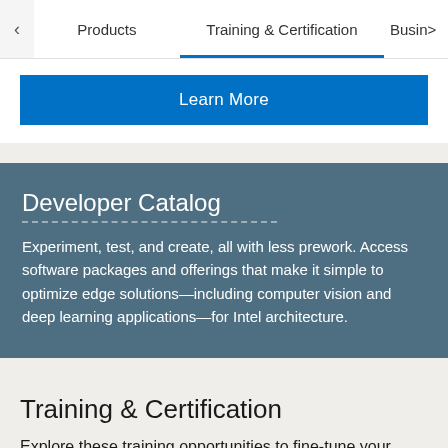< Products  Training & Certification  Busin>
Learn More
Developer Catalog
Experiment, test, and create, all with less prework. Access software packages and offerings that make it simple to optimize edge solutions—including computer vision and deep learning applications—for Intel architecture.
Training & Certification
Explore these training opportunities to fine-tune your skills for edge, IoT, and 5G development.